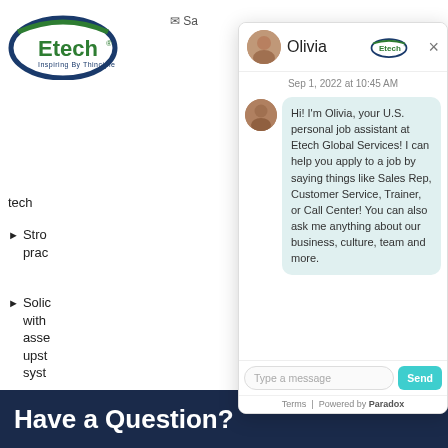[Figure (screenshot): Etech company logo with oval swoosh in dark blue and green, text 'Etech' in dark green]
tech
Stro... prac...
Solic... with... asse... upst... syst...
Mus... writt... com... app... Eng...
Bac... Soft...
[Figure (screenshot): Olivia chatbot widget popup from Etech Global Services. Header shows avatar photo of Olivia and Etech logo with X close button. Timestamp: Sep 1, 2022 at 10:45 AM. Chat bubble reads: Hi! I'm Olivia, your U.S. personal job assistant at Etech Global Services! I can help you apply to a job by saying things like Sales Rep, Customer Service, Trainer, or Call Center! You can also ask me anything about our business, culture, team and more. Input: Type a message. Send button. Footer: Terms | Powered by Paradox]
Have a Question?